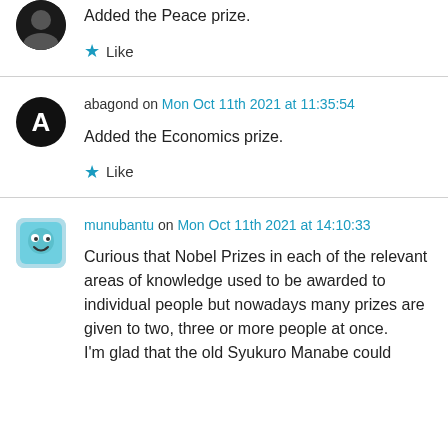Added the Peace prize.
Like
abagond on Mon Oct 11th 2021 at 11:35:54
Added the Economics prize.
Like
munubantu on Mon Oct 11th 2021 at 14:10:33
Curious that Nobel Prizes in each of the relevant areas of knowledge used to be awarded to individual people but nowadays many prizes are given to two, three or more people at once. I'm glad that the old Syukuro Manabe could